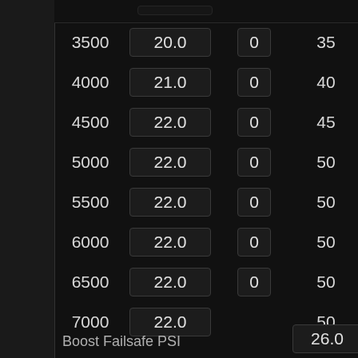| RPM | Col2 | Col3 | Col4 |
| --- | --- | --- | --- |
| 3500 | 20.0 | 0 | 35 |
| 4000 | 21.0 | 0 | 40 |
| 4500 | 22.0 | 0 | 45 |
| 5000 | 22.0 | 0 | 50 |
| 5500 | 22.0 | 0 | 50 |
| 6000 | 22.0 | 0 | 50 |
| 6500 | 22.0 | 0 | 50 |
| 7000 | 22.0 |  | 50 |
Boost Failsafe PSI
26.0